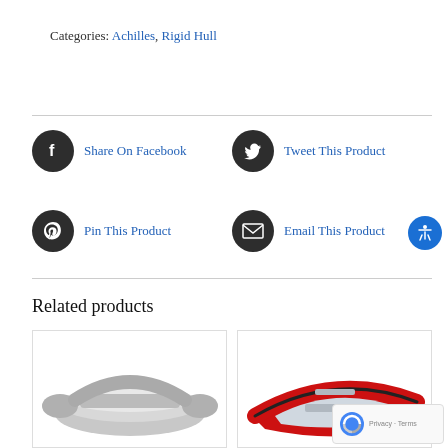Categories: Achilles, Rigid Hull
Share On Facebook
Tweet This Product
Pin This Product
Email This Product
Related products
[Figure (photo): Gray inflatable boat / dinghy]
[Figure (photo): Red and black rigid hull inflatable boat (RIB)]